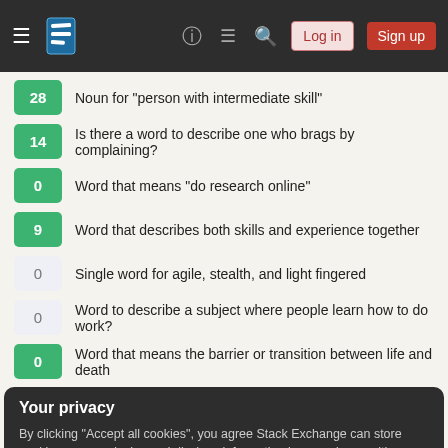[Figure (screenshot): Stack Exchange navigation bar with hamburger menu, logo, help icon, chat icon, search icon, Log in button, and Sign up button]
28  Noun for "person with intermediate skill"
14  Is there a word to describe one who brags by complaining?
0   Word that means "do research online"
9   Word that describes both skills and experience together
0   Single word for agile, stealth, and light fingered
0   Word to describe a subject where people learn how to do work?
0   Word that means the barrier or transition between life and death
Your privacy
By clicking "Accept all cookies", you agree Stack Exchange can store cookies on your device and disclose information in accordance with our Cookie Policy.
Accept all cookies  Customize settings
1/60: why was the figure 60 chosen?